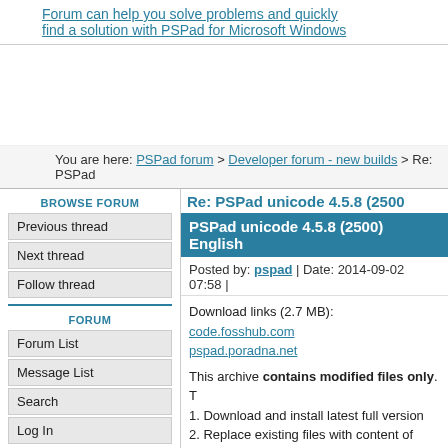Forum can help you solve problems and quickly find a solution with PSPad for Microsoft Windows
You are here: PSPad forum > Developer forum - new builds > Re: PSPad
BROWSE FORUM
Previous thread
Next thread
Follow thread
FORUM
Forum List
Message List
Search
Log In
PSPAD.COM
PSPad home
Re: PSPad unicode 4.5.8 (2500
PSPad unicode 4.5.8 (2500) English
Posted by: pspad | Date: 2014-09-02 07:58 |
Download links (2.7 MB):
code.fosshub.com
pspad.poradna.net
This archive contains modified files only. T
1. Download and install latest full version
2. Replace existing files with content of archi
Tip: If you want to speed up start and you do
Changes to 4.5.8 (2485)
News
System context menu integration - DLL exten
Find/Replace dialog is sizable (width)
FTP - added MLSD command detection. If co
File Changes detection was extended to file s
Fixes:
File browser - fixed wrong file size for files big
Code explorer for PERL - fixed dashed sub m